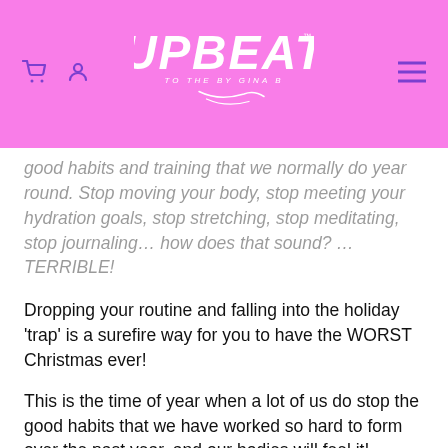UPBEAT TO THE BEAT BY GINA B — website header with logo and navigation icons
good habits and training that we normally do year round. Stop moving your body, stop meeting your hydration goals, stop stretching, stop meditating, stop journaling… how does that sound? …TERRIBLE!
Dropping your routine and falling into the holiday 'trap' is a surefire way for you to have the WORST Christmas ever!
This is the time of year when a lot of us do stop the good habits that we have worked so hard to form over the past year, and our bodies will feel it! Keeping your routine as much as possible during this time of year is so essential to not only the health of your physical body, but your mind as well.